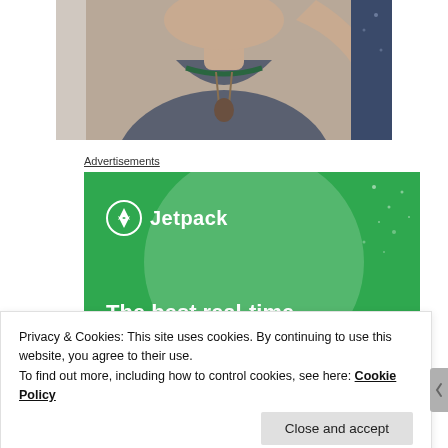[Figure (photo): Cropped photo of a person wearing a dark gray top and necklace, taking a selfie]
Advertisements
[Figure (screenshot): Jetpack advertisement banner with green background, Jetpack logo, and text 'The best real-time WordPress backup']
Privacy & Cookies: This site uses cookies. By continuing to use this website, you agree to their use.
To find out more, including how to control cookies, see here: Cookie Policy
Close and accept